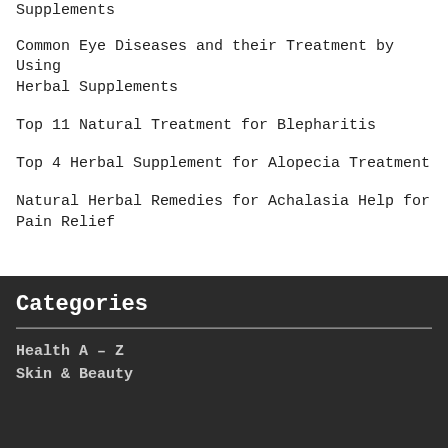Supplements
Common Eye Diseases and their Treatment by Using Herbal Supplements
Top 11 Natural Treatment for Blepharitis
Top 4 Herbal Supplement for Alopecia Treatment
Natural Herbal Remedies for Achalasia Help for Pain Relief
Categories
Health A – Z
Skin & Beauty